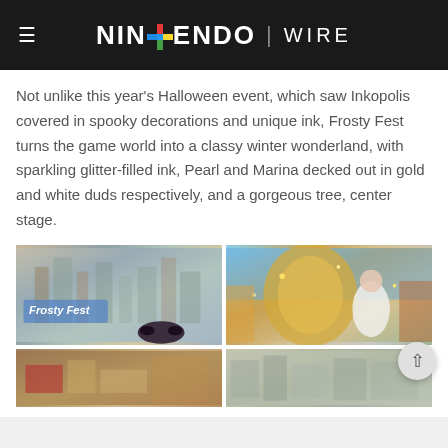Nintendo Wire
Not unlike this year's Halloween event, which saw Inkopolis covered in spooky decorations and unique ink, Frosty Fest turns the game world into a classy winter wonderland, with sparkling glitter-filled ink, Pearl and Marina decked out in gold and white duds respectively, and a gorgeous tree, center stage.
[Figure (photo): Two side-by-side screenshots from Splatoon video game showing Frosty Fest event. Left image shows the Inkopolis square decorated for Frosty Fest with a logo overlay. Right image shows characters Pearl and Marina on a stage with glittery gold decorations.]
[Figure (photo): Two partially visible screenshots at the bottom of the page from Splatoon Frosty Fest event, showing winter wonderland game environments.]